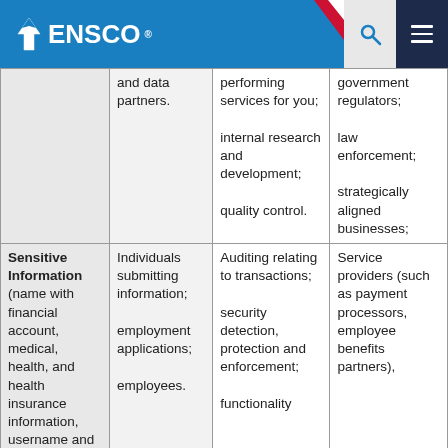ENSCO
| Category | Sources | Purposes | Disclosures |
| --- | --- | --- | --- |
|  | and data partners. | performing services for you;

internal research and development;

quality control. | government regulators;

law enforcement;

strategically aligned businesses; |
| Sensitive Information (name with financial account, medical, health, and health insurance information, username and password) | Individuals submitting information;

employment applications;

employees. | Auditing relating to transactions;

security detection, protection and enforcement;

functionality | Service providers (such as payment processors, employee benefits partners), |